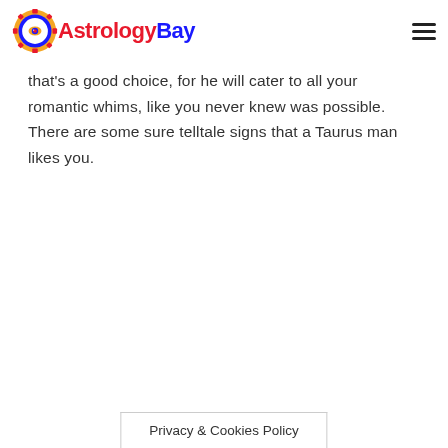AstrologyBay
that's a good choice, for he will cater to all your romantic whims, like you never knew was possible. There are some sure telltale signs that a Taurus man likes you.
Privacy & Cookies Policy